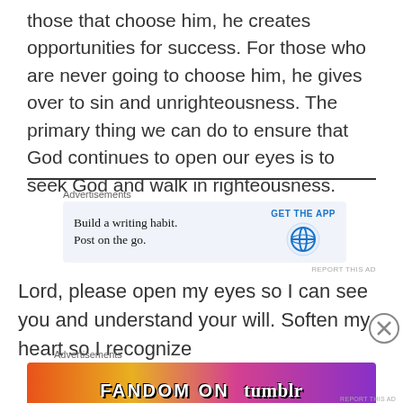those that choose him, he creates opportunities for success. For those who are never going to choose him, he gives over to sin and unrighteousness. The primary thing we can do to ensure that God continues to open our eyes is to seek God and walk in righteousness.
[Figure (other): WordPress advertisement banner: 'Build a writing habit. Post on the go.' with GET THE APP button and WordPress logo]
Lord, please open my eyes so I can see you and understand your will. Soften my heart so I recognize
[Figure (other): Fandom on Tumblr advertisement banner with colorful gradient background]